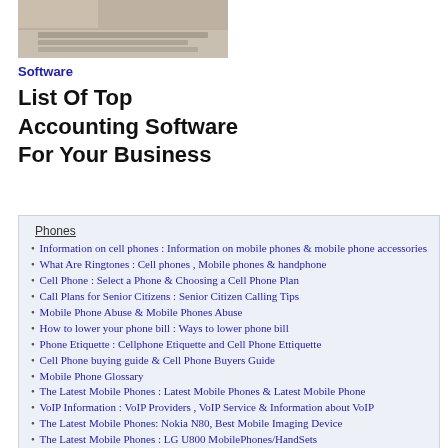[Figure (photo): Photo of person typing on a keyboard, cropped to show hands and keyboard top portion]
Software
List Of Top Accounting Software For Your Business
Phones
Information on cell phones : Information on mobile phones & mobile phone accessories
What Are Ringtones : Cell phones , Mobile phones & handphone
Cell Phone : Select a Phone & Choosing a Cell Phone Plan
Call Plans for Senior Citizens : Senior Citizen Calling Tips
Mobile Phone Abuse & Mobile Phones Abuse
How to lower your phone bill : Ways to lower phone bill
Phone Etiquette : Cellphone Etiquette and Cell Phone Ettiquette
Cell Phone buying guide & Cell Phone Buyers Guide
Mobile Phone Glossary
The Latest Mobile Phones : Latest Mobile Phones & Latest Mobile Phone
VoIP Information : VoIP Providers , VoIP Service & Information about VoIP
The Latest Mobile Phones: Nokia N80, Best Mobile Imaging Device
The Latest Mobile Phones : LG U800 MobilePhones/HandSets
PDA Mobile Phones : PDA Phone & PDA Phones
Nokia Phone : Nokia Phone Information
Cell Phone Reviews : Buyers Where You Purchase